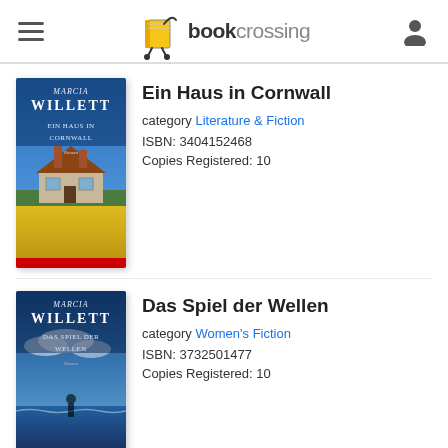bookcrossing
[Figure (illustration): Book cover for 'Ein Haus in Cornwall' by Marcia Willett, showing a cottage in a field of yellow flowers under a blue sky]
Ein Haus in Cornwall
category Literature & Fiction
ISBN: 3404152468
Copies Registered: 10
[Figure (illustration): Book cover for 'Das Spiel der Wellen' by Marcia Willett, showing a coastal scene with sky and sea]
Das Spiel der Wellen
category Women's Fiction
ISBN: 3732501477
Copies Registered: 10